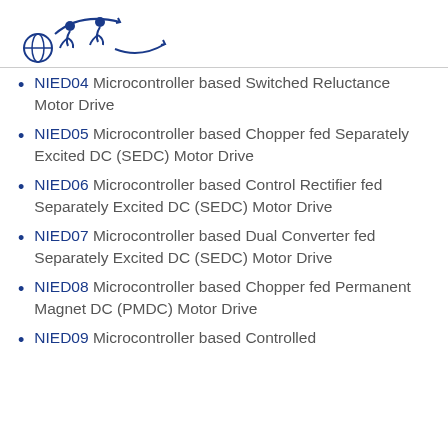[Figure (logo): Organization logo with stylized figures and arrows in blue]
NIED04   Microcontroller based Switched Reluctance Motor Drive
NIED05   Microcontroller based Chopper fed Separately Excited DC (SEDC) Motor Drive
NIED06   Microcontroller based Control Rectifier fed Separately Excited DC (SEDC) Motor Drive
NIED07   Microcontroller based Dual Converter fed Separately Excited DC (SEDC) Motor Drive
NIED08   Microcontroller based Chopper fed Permanent Magnet DC (PMDC) Motor Drive
NIED09   Microcontroller based Controlled